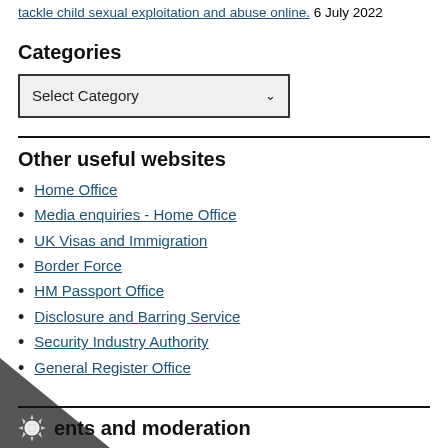tackle child sexual exploitation and abuse online. 6 July 2022
Categories
Select Category
Other useful websites
Home Office
Media enquiries - Home Office
UK Visas and Immigration
Border Force
HM Passport Office
Disclosure and Barring Service
Security Industry Authority
General Register Office
ents and moderation